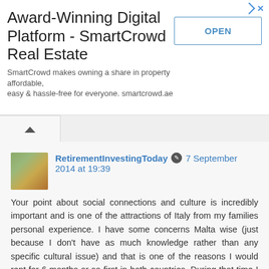[Figure (other): Advertisement banner for SmartCrowd Real Estate with title, subtitle, and OPEN button]
Award-Winning Digital Platform - SmartCrowd Real Estate
SmartCrowd makes owning a share in property affordable, easy & hassle-free for everyone. smartcrowd.ae
RetirementInvestingToday 7 September 2014 at 19:39
Your point about social connections and culture is incredibly important and is one of the attractions of Italy from my families personal experience. I have some concerns Malta wise (just because I don't have as much knowledge rather than any specific cultural issue) and that is one of the reasons I would rent for 6 months or so first in both countries. During that time I would work hard to integrate as opposed to live as an expat.
Anonymous 8 September 2014 at 22:55